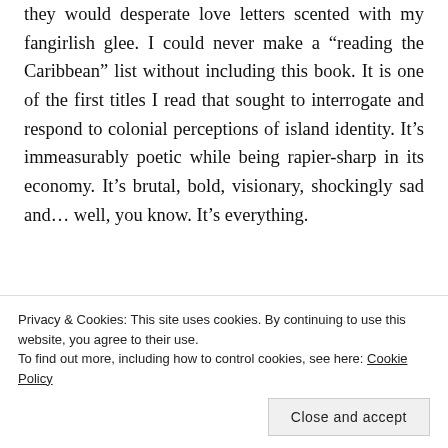they would desperate love letters scented with my fangirlish glee. I could never make a “reading the Caribbean” list without including this book. It is one of the first titles I read that sought to interrogate and respond to colonial perceptions of island identity. It’s immeasurably poetic while being rapier-sharp in its economy. It’s brutal, bold, visionary, shockingly sad and… well, you know. It’s everything.
Advertisements
[Figure (other): Advertisement box with beige background showing the word 'Professionally' in large bold serif font]
Privacy & Cookies: This site uses cookies. By continuing to use this website, you agree to their use.
To find out more, including how to control cookies, see here: Cookie Policy
Close and accept